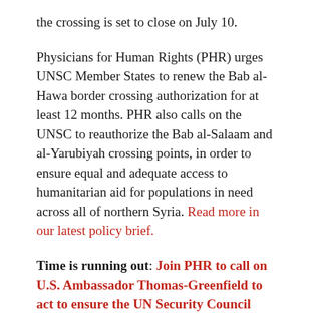the crossing is set to close on July 10.
Physicians for Human Rights (PHR) urges UNSC Member States to renew the Bab al-Hawa border crossing authorization for at least 12 months. PHR also calls on the UNSC to reauthorize the Bab al-Salaam and al-Yarubiyah crossing points, in order to ensure equal and adequate access to humanitarian aid for populations in need across all of northern Syria. Read more in our latest policy brief.
Time is running out: Join PHR to call on U.S. Ambassador Thomas-Greenfield to act to ensure the UN Security Council extends the border crossing authorization immediately.